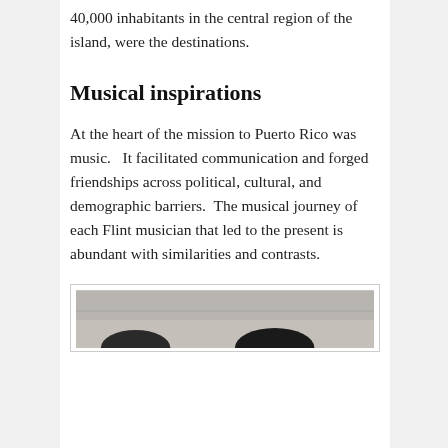40,000 inhabitants in the central region of the island, were the destinations.
Musical inspirations
At the heart of the mission to Puerto Rico was music.   It facilitated communication and forged friendships across political, cultural, and demographic barriers.  The musical journey of each Flint musician that led to the present is abundant with similarities and contrasts.
[Figure (photo): A photograph showing people, partially visible at the bottom of the page.]